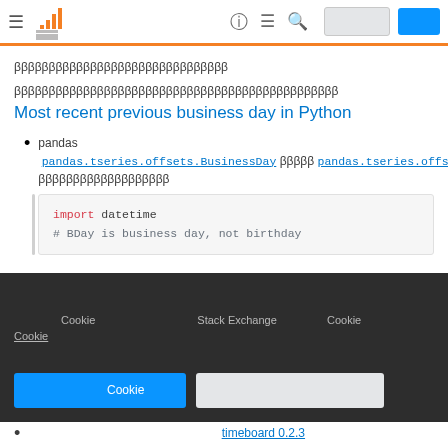Stack Overflow navigation bar with hamburger menu, logo, icons, and login/signup buttons
ββββββββββββββββββββββββββββββ
βββββββββββββββββββββββββββββββββββββββββββββββ Most recent previous business day in Python
pandas β pandas.tseries.offsets.BusinessDay βββββ pandas.tseries.offsets.BDay βββββββββββββββββββ
[Figure (screenshot): Code block showing: import datetime  # BDay is business day, not birthday]
Cookie γγγγγγ - Cookie banner with title, description about Stack Exchange cookies, and accept/settings buttons
βββββββββββββββββ timeboard 0.2.3